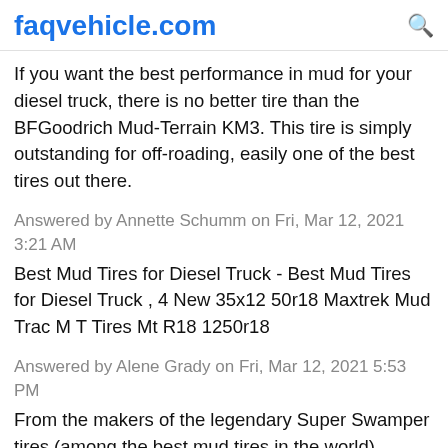faqvehicle.com
If you want the best performance in mud for your diesel truck, there is no better tire than the BFGoodrich Mud-Terrain KM3. This tire is simply outstanding for off-roading, easily one of the best tires out there.
Answered by Annette Schumm on Fri, Mar 12, 2021 3:21 AM
Best Mud Tires for Diesel Truck - Best Mud Tires for Diesel Truck , 4 New 35x12 50r18 Maxtrek Mud Trac M T Tires Mt R18 1250r18
Answered by Alene Grady on Fri, Mar 12, 2021 5:53 PM
From the makers of the legendary Super Swamper tires (among the best mud tires in the world) comes